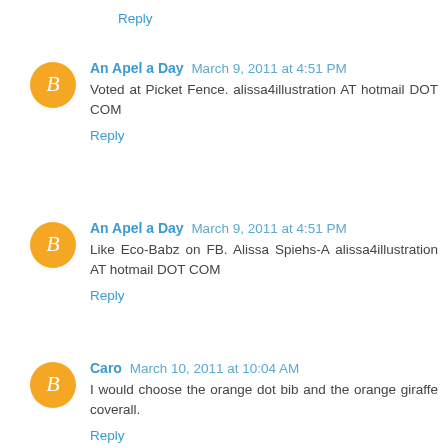Reply
An Apel a Day  March 9, 2011 at 4:51 PM
Voted at Picket Fence. alissa4illustration AT hotmail DOT COM
Reply
An Apel a Day  March 9, 2011 at 4:51 PM
Like Eco-Babz on FB. Alissa Spiehs-A alissa4illustration AT hotmail DOT COM
Reply
Caro  March 10, 2011 at 10:04 AM
I would choose the orange dot bib and the orange giraffe coverall.
Reply